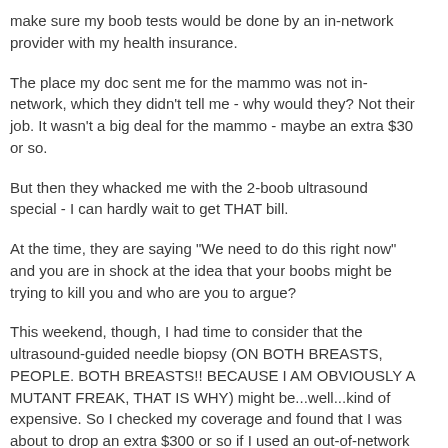make sure my boob tests would be done by an in-network provider with my health insurance.
The place my doc sent me for the mammo was not in-network, which they didn't tell me - why would they? Not their job. It wasn't a big deal for the mammo - maybe an extra $30 or so.
But then they whacked me with the 2-boob ultrasound special - I can hardly wait to get THAT bill.
At the time, they are saying "We need to do this right now" and you are in shock at the idea that your boobs might be trying to kill you and who are you to argue?
This weekend, though, I had time to consider that the ultrasound-guided needle biopsy (ON BOTH BREASTS, PEOPLE. BOTH BREASTS!! BECAUSE I AM OBVIOUSLY A MUTANT FREAK, THAT IS WHY) might be...well...kind of expensive. So I checked my coverage and found that I was about to drop an extra $300 or so if I used an out-of-network provider.